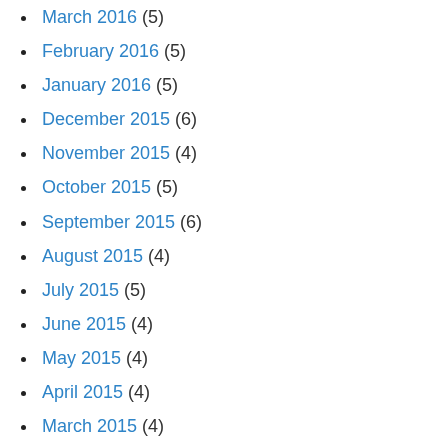March 2016 (5)
February 2016 (5)
January 2016 (5)
December 2015 (6)
November 2015 (4)
October 2015 (5)
September 2015 (6)
August 2015 (4)
July 2015 (5)
June 2015 (4)
May 2015 (4)
April 2015 (4)
March 2015 (4)
February 2015 (4)
January 2015 (4)
December 2014 (4)
November 2014 (5)